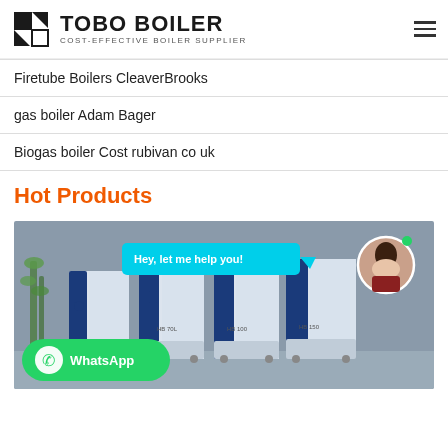TOBO BOILER — COST-EFFECTIVE BOILER SUPPLIER
Firetube Boilers CleaverBrooks
gas boiler Adam Bager
Biogas boiler Cost rubivan co uk
Hot Products
[Figure (photo): Industrial hot water boilers (blue and white units) displayed in a showroom with bamboo plants. Overlay shows a WhatsApp chat badge and a customer service avatar with speech bubble saying 'Hey, let me help you!']